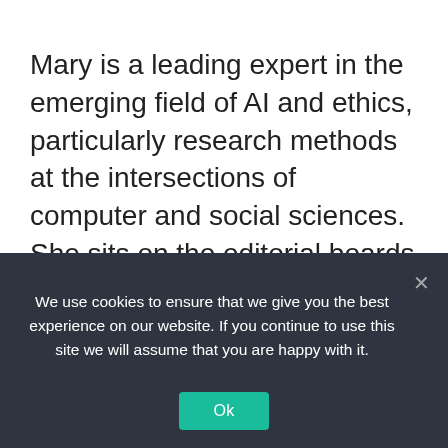Mary is a leading expert in the emerging field of AI and ethics, particularly research methods at the intersections of computer and social sciences. She sits on the editorial boards of Cultural Anthropology, Television and New Media, the International Journal of Communication, and Social Media + Society. Mary has also written for and been covered by popular press venues, including the Harvard Business Review, The Chronicle of Higher Education, The New York Times, Los Angeles Times, the Guardian, Nature, The Economist, and Forbes Magazine. She
We use cookies to ensure that we give you the best experience on our website. If you continue to use this site we will assume that you are happy with it.